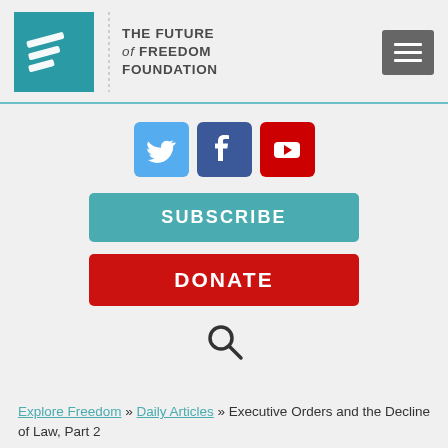[Figure (logo): The Future of Freedom Foundation logo with teal square and stylized F letters, and organization name text]
[Figure (infographic): Social media icons: Twitter (blue bird), Facebook (blue f), YouTube (red play button)]
[Figure (other): Teal SUBSCRIBE button]
[Figure (other): Red DONATE button]
[Figure (other): Search magnifying glass icon]
Explore Freedom >> Daily Articles >> Executive Orders and the Decline of Law, Part 2